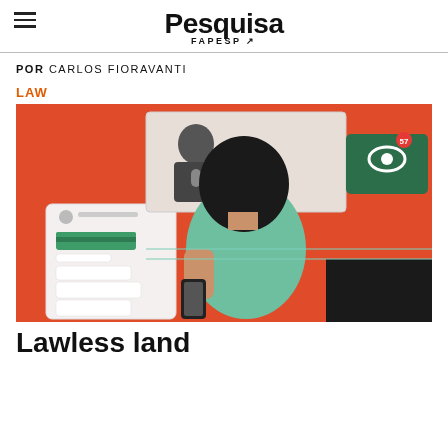Pesquisa FAPESP
POR CARLOS FIORAVANTI
LAW
[Figure (illustration): Illustration of a person with dark curly hair, viewed from behind, holding a phone and interacting with digital messaging interfaces. The background is orange-red with WhatsApp-style icons, chat bubbles, and a video screen showing a person. A green phone/messaging app interface is shown on the left side.]
Lawless land